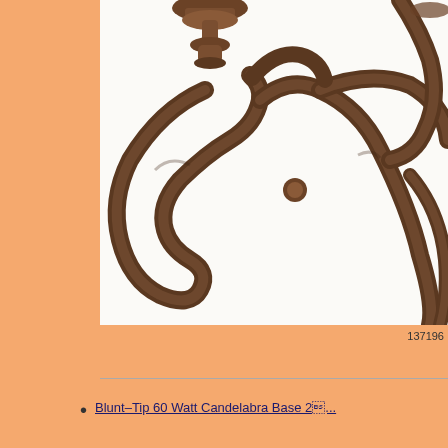[Figure (photo): Close-up photograph of ornate wrought iron chandelier arms with scrollwork details in dark bronze/rust finish, showing curved decorative metalwork and candle cup holder, white background]
137196
Blunt&#8211;Tip 60 Watt Candelabra Base 2&#8...